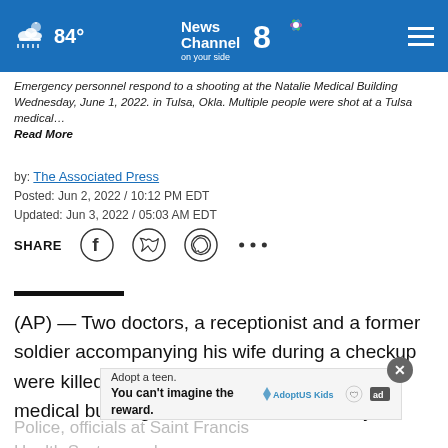84° News Channel 8 on your side
Emergency personnel respond to a shooting at the Natalie Medical Building Wednesday, June 1, 2022. in Tulsa, Okla. Multiple people were shot at a Tulsa medical… Read More
by: The Associated Press
Posted: Jun 2, 2022 / 10:12 PM EDT
Updated: Jun 3, 2022 / 05:03 AM EDT
SHARE
(AP) — Two doctors, a receptionist and a former soldier accompanying his wife during a checkup were killed in a mass shooting inside a Tulsa medical building, authorities said Thursday.
Police, officials at Saint Francis Health System and